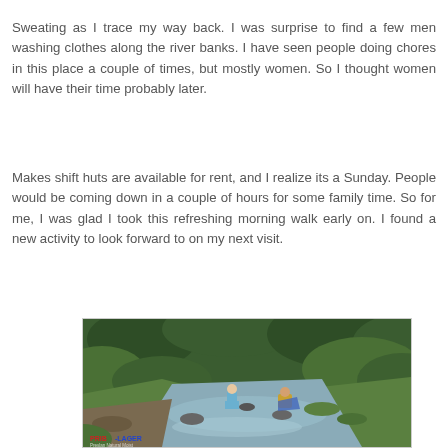Sweating as I trace my way back. I was surprise to find a few men washing clothes along the river banks. I have seen people doing chores in this place a couple of times, but mostly women. So I thought women will have their time probably later.
Makes shift huts are available for rent, and I realize its a Sunday. People would be coming down in a couple of hours for some family time. So for me, I was glad I took this refreshing morning walk early on. I found a new activity to look forward to on my next visit.
[Figure (photo): A lush green river scene with flowing water over rocks, surrounded by dense tropical vegetation. Two people are visible washing clothes by the riverbank. A watermark reads 'PRIB-LAGER' in the bottom left corner.]